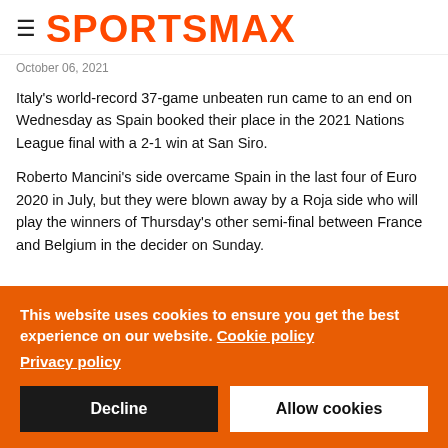≡ SPORTSMAX
October 06, 2021
Italy's world-record 37-game unbeaten run came to an end on Wednesday as Spain booked their place in the 2021 Nations League final with a 2-1 win at San Siro.
Roberto Mancini's side overcame Spain in the last four of Euro 2020 in July, but they were blown away by a Roja side who will play the winners of Thursday's other semi-final between France and Belgium in the decider on Sunday.
This website uses cookies to ensure you get the best experience on our website. Cookie policy
Privacy policy
Decline | Allow cookies